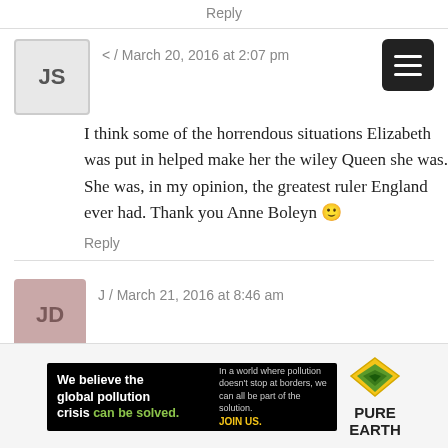Reply
< / March 20, 2016 at 2:07 pm
I think some of the horrendous situations Elizabeth was put in helped make her the wiley Queen she was. She was, in my opinion, the greatest ruler England ever had. Thank you Anne Boleyn 🙂
Reply
J / March 21, 2016 at 8:46 am
Enjoy all your stories. Thank you.
Reply
[Figure (other): Pure Earth advertisement banner: 'We believe the global pollution crisis can be solved. In a world where pollution doesn't stop at borders, we can all be part of the solution. JOIN US.' with Pure Earth logo.]